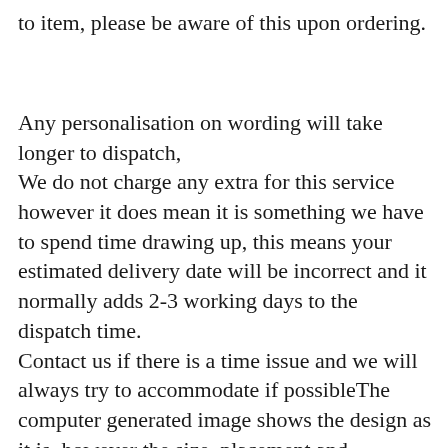to item, please be aware of this upon ordering.
Any personalisation on wording will take longer to dispatch,
We do not charge any extra for this service however it does mean it is something we have to spend time drawing up, this means your estimated delivery date will be incorrect and it normally adds 2-3 working days to the dispatch time.
Contact us if there is a time issue and we will always try to accommodate if possibleThe computer generated image shows the design as it is, however the size, placement and dimensions can change dependant on item/garment/size and we print by hand with the aim of the design looking "right" as opposed to copying the placement on the computer generated image.